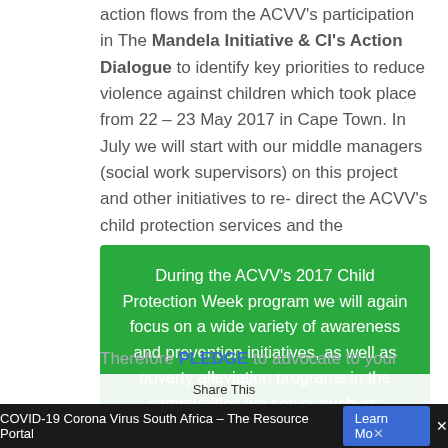action flows from the ACVV's participation in The Mandela Initiative & CI's Action Dialogue to identify key priorities to reduce violence against children which took place from 22 – 23 May 2017 in Cape Town. In July we will start with our middle managers (social work supervisors) on this project and other initiatives to re-direct the ACVV's child protection services and the supervision of our interventions. More news to follow!
During the ACVV's 2017 Child Protection Week program we will again focus on a wide variety of awareness and prevention initiatives, as well as poverty alleviation programs in the communities we serve, such as:
COVID-19 Corona Virus South Africa – The Resource Portal | Learn More